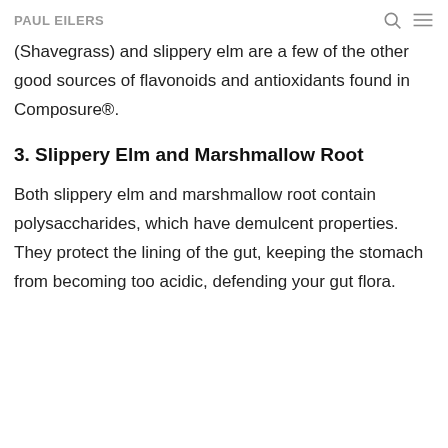PAUL EILERS
(Shavegrass) and slippery elm are a few of the other good sources of flavonoids and antioxidants found in Composure®.
3. Slippery Elm and Marshmallow Root
Both slippery elm and marshmallow root contain polysaccharides, which have demulcent properties. They protect the lining of the gut, keeping the stomach from becoming too acidic, defending your gut flora.